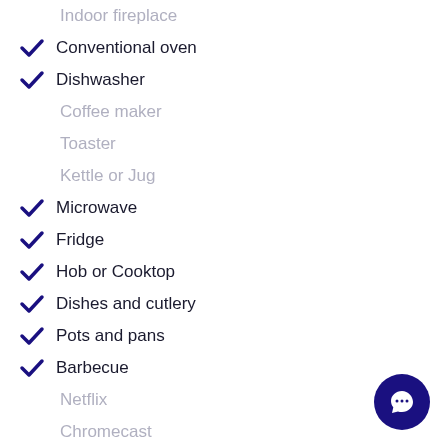Indoor fireplace (inactive)
✓ Conventional oven
✓ Dishwasher
Coffee maker (inactive)
Toaster (inactive)
Kettle or Jug (inactive)
✓ Microwave
✓ Fridge
✓ Hob or Cooktop
✓ Dishes and cutlery
✓ Pots and pans
✓ Barbecue
Netflix (inactive)
Chromecast (inactive)
✓ Freeview TV
Sky TV (inactive)
House Rules:
✓ OK for kids (3-12 yrs)